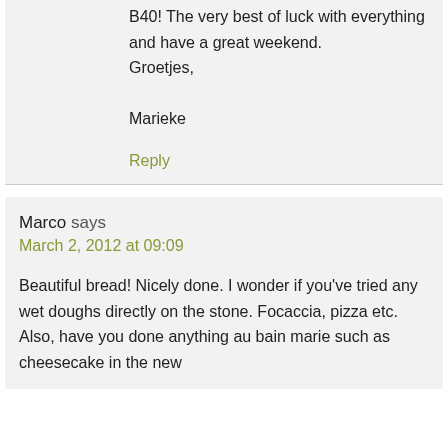B40! The very best of luck with everything and have a great weekend.
Groetjes,

Marieke
Reply
Marco says
March 2, 2012 at 09:09
Beautiful bread! Nicely done. I wonder if you've tried any wet doughs directly on the stone. Focaccia, pizza etc. Also, have you done anything au bain marie such as cheesecake in the new